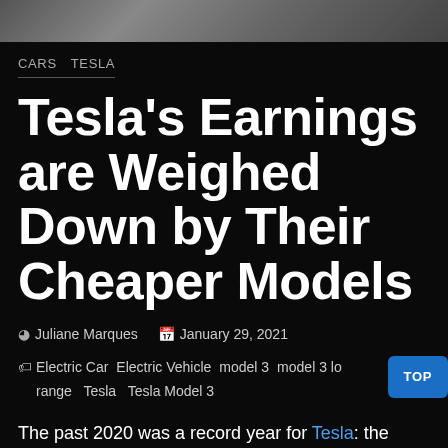[Figure (photo): Partial photo at top of page, appears to be a car or sky background in grayscale]
CARS  TESLA
Tesla's Earnings are Weighed Down by Their Cheaper Models
Juliane Marques  January 29, 2021
Electric Car  Electric Vehicle  model 3  model 3 long range  Tesla  Tesla Model 3
The past 2020 was a record year for Tesla: the